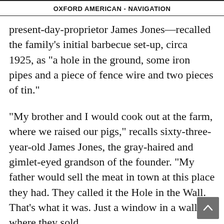OXFORD AMERICAN - NAVIGATION
present-day-proprietor James Jones—recalled the family's initial barbecue set-up, circa 1925, as "a hole in the ground, some iron pipes and a piece of fence wire and two pieces of tin."
"My brother and I would cook out at the farm, where we raised our pigs," recalls sixty-three-year-old James Jones, the gray-haired and gimlet-eyed grandson of the founder. "My father would sell the meat in town at this place they had. They called it the Hole in the Wall. That's what it was. Just a window in a wall where they sold